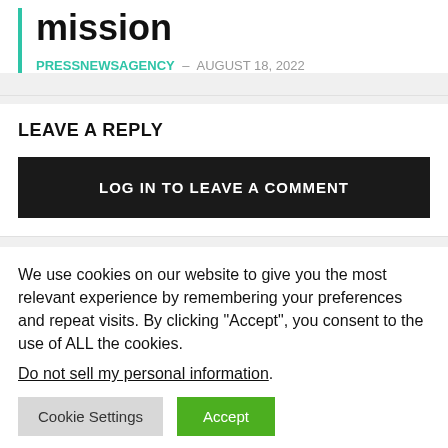mission
PRESSNEWSAGENCY – AUGUST 18, 2022
LEAVE A REPLY
LOG IN TO LEAVE A COMMENT
We use cookies on our website to give you the most relevant experience by remembering your preferences and repeat visits. By clicking "Accept", you consent to the use of ALL the cookies.
Do not sell my personal information.
Cookie Settings  Accept